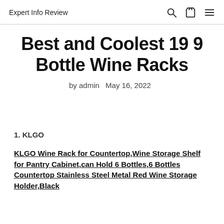Expert Info Review
Best and Coolest 19 9 Bottle Wine Racks
by admin   May 16, 2022
1. KLGO
KLGO Wine Rack for Countertop,Wine Storage Shelf for Pantry Cabinet,can Hold 6 Bottles,6 Bottles Countertop Stainless Steel Metal Red Wine Storage Holder,Black